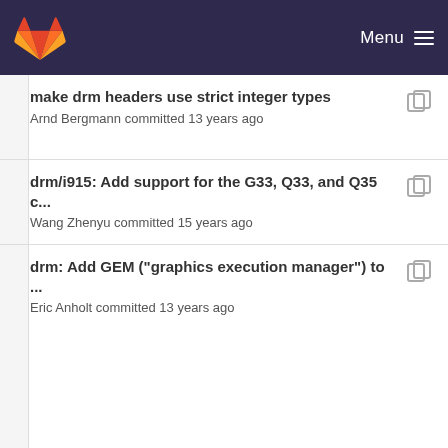Menu
make drm headers use strict integer types
Arnd Bergmann committed 13 years ago
drm/i915: Add support for the G33, Q33, and Q35 c...
Wang Zhenyu committed 15 years ago
drm: Add GEM ("graphics execution manager") to ...
Eric Anholt committed 13 years ago
make drm headers use strict integer types
Arnd Bergmann committed 13 years ago
drm: Add GEM ("graphics execution manager") to ...
Eric Anholt committed 13 years ago
make drm headers use strict integer types